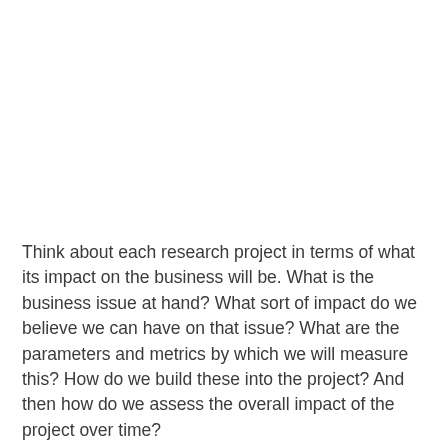Think about each research project in terms of what its impact on the business will be. What is the business issue at hand? What sort of impact do we believe we can have on that issue? What are the parameters and metrics by which we will measure this? How do we build these into the project? And then how do we assess the overall impact of the project over time?
All of this involves deep and ongoing communication and involvement from project stakeholders throughout the